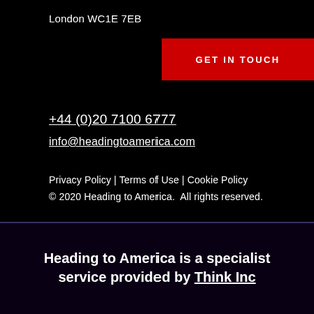London WC1E 7EB
GET IN TOUCH
+44 (0)20 7100 6777
info@headingtoamerica.com
Privacy Policy | Terms of Use | Cookie Policy
© 2020 Heading to America.  All rights reserved.
Heading to America is a specialist service provided by Think Inc